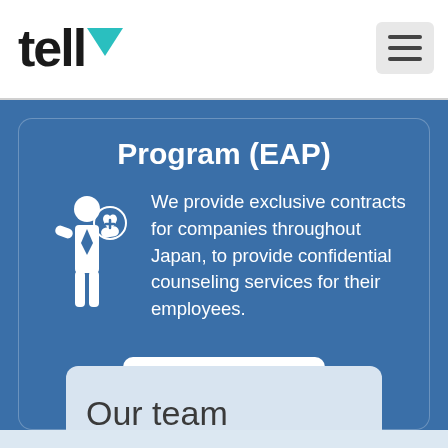[Figure (logo): tell logo with teal chevron/arrow above the double-l]
[Figure (other): Hamburger menu icon (three horizontal lines) in a light gray rounded rectangle]
Program (EAP)
[Figure (illustration): White icon of a businessperson holding a heart with a plus sign, representing Employee Assistance Program]
We provide exclusive contracts for companies throughout Japan, to provide confidential counseling services for their employees.
LEARN MORE
Our team